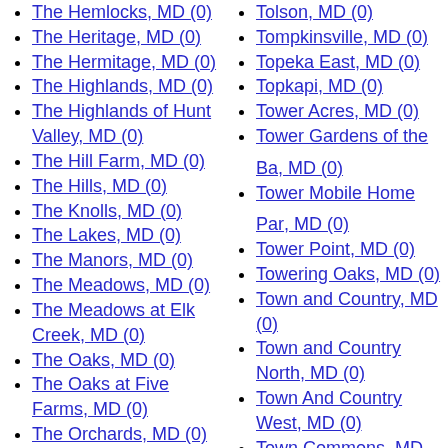The Heritage, MD (0)
The Hermitage, MD (0)
The Highlands, MD (0)
The Highlands of Hunt Valley, MD (0)
The Hill Farm, MD (0)
The Hills, MD (0)
The Knolls, MD (0)
The Lakes, MD (0)
The Manors, MD (0)
The Meadows, MD (0)
The Meadows at Elk Creek, MD (0)
The Oaks, MD (0)
The Oaks at Five Farms, MD (0)
The Orchards, MD (0)
The Peach Orchard, MD (0)
The Pines, MD (0)
The Pines at Deep Run, MD (0)
The Plains, MD (0)
The Plantations, MD (0)
The Pointe, MD (0)
The Pond, MD (0)
Tolson, MD (0)
Tompkinsville, MD (0)
Topeka East, MD (0)
Topkapi, MD (0)
Tower Acres, MD (0)
Tower Gardens of the Ba, MD (0)
Tower Mobile Home Par, MD (0)
Tower Point, MD (0)
Towering Oaks, MD (0)
Town and Country, MD (0)
Town and Country North, MD (0)
Town And Country West, MD (0)
Town Commons, MD (0)
Town Creek, MD (0)
Town Creek Farm, MD (0)
Town Creek Manor, MD (0)
Town Point, MD (0)
Town Point Estates, MD (0)
Towne Centre Place, MD (0)
Townsends Cross Roads, MD (0)